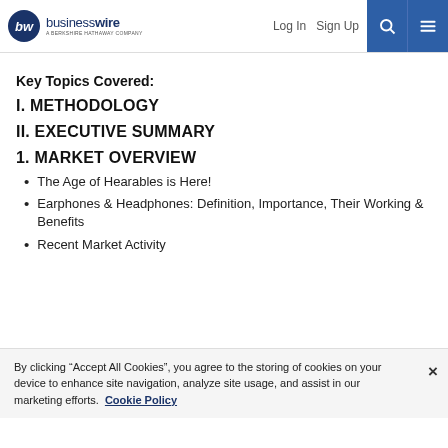businesswire — A Berkshire Hathaway Company | Log In | Sign Up
Key Topics Covered:
I. METHODOLOGY
II. EXECUTIVE SUMMARY
1. MARKET OVERVIEW
The Age of Hearables is Here!
Earphones & Headphones: Definition, Importance, Their Working & Benefits
Recent Market Activity
By clicking “Accept All Cookies”, you agree to the storing of cookies on your device to enhance site navigation, analyze site usage, and assist in our marketing efforts. Cookie Policy